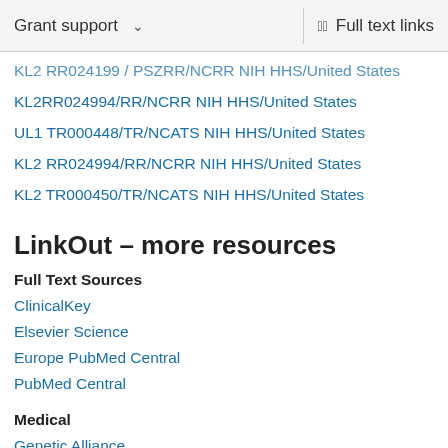Grant support   Full text links
KL2 RR024199 / PSZRR/NCRR NIH HHS/United States
KL2RR024994/RR/NCRR NIH HHS/United States
UL1 TR000448/TR/NCATS NIH HHS/United States
KL2 RR024994/RR/NCRR NIH HHS/United States
KL2 TR000450/TR/NCATS NIH HHS/United States
LinkOut – more resources
Full Text Sources
ClinicalKey
Elsevier Science
Europe PubMed Central
PubMed Central
Medical
Genetic Alliance
MedlinePlus Health Information